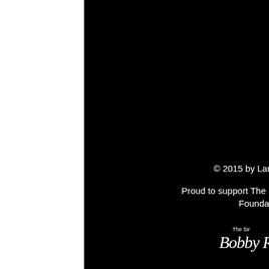[Figure (photo): Mostly black background image filling the upper portion of the page]
© 2015 by Lane & Sons
Proud to support The Sir Bobby Robson Foundation
[Figure (logo): The Sir Bobby Robson Foundation handwritten signature logo with a soccer ball icon]